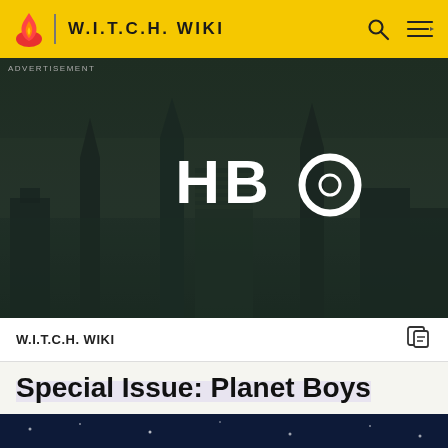W.I.T.C.H. WIKI
[Figure (screenshot): HBO advertisement banner with dark city skyline backdrop and HBO logo centered in white text]
ADVERTISEMENT
W.I.T.C.H. WIKI
Special Issue: Planet Boys